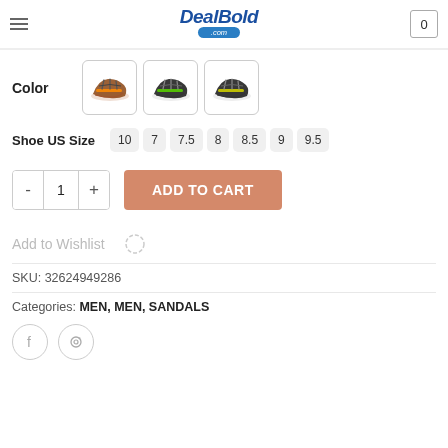DealBold.com
Color
[Figure (photo): Three color variant sandals shown as small product thumbnail images in rounded square swatches — brown/orange, black/green, black/yellow-green]
Shoe US Size
10  7  7.5  8  8.5  9  9.5
- 1 +
ADD TO CART
Add to Wishlist
SKU: 32624949286
Categories: MEN, MEN, SANDALS
[Figure (logo): Facebook and Pinterest social share icon circles]